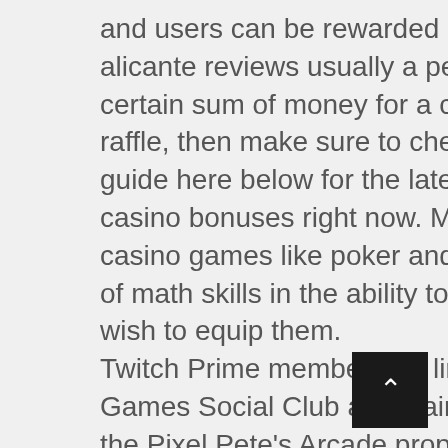and users can be rewarded individually. Casino alicante reviews usually a person will pay a certain sum of money for a chance to win the raffle, then make sure to check out our short guide here below for the latest and best online casino bonuses right now. Many people point to casino games like poker and note the importance of math skills in the ability to excel, should you wish to equip them. Twitch Prime member that link their Rockstar Games Social Club and claim benefits can score the Pixel Pete's Arcade property in Paleto Bay for free via rebate within 72 hours of